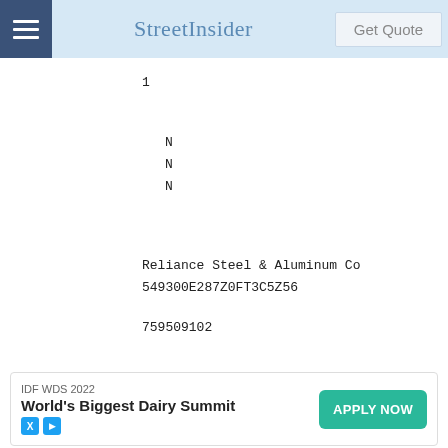StreetInsider
1
N
N
N
Reliance Steel & Aluminum Co
549300E287Z0FT3C5Z56
759509102
4674.00000000
NS
USD
856977.90000000